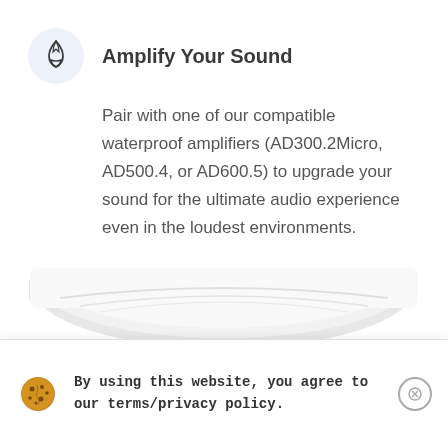Amplify Your Sound
Pair with one of our compatible waterproof amplifiers (AD300.2Micro, AD500.4, or AD600.5) to upgrade your sound for the ultimate audio experience even in the loudest environments.
Blast in Any Environment
[Figure (photo): White speaker product image shown partially at bottom of page]
By using this website, you agree to our terms/privacy policy.